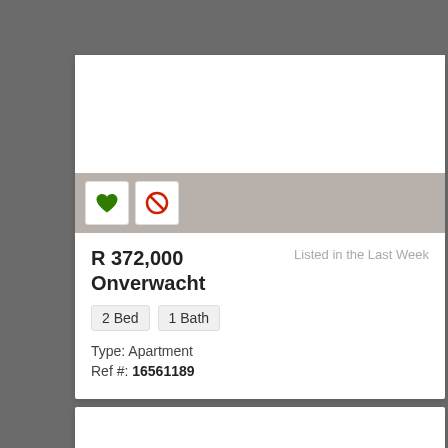[Figure (other): Property listing image placeholder (white rectangle)]
R 372,000
Onverwacht
Listed in the Last Week
2 Bed
1 Bath
Type: Apartment
Ref #: 16561189
[Figure (other): Second property listing image placeholder (white rectangle)]